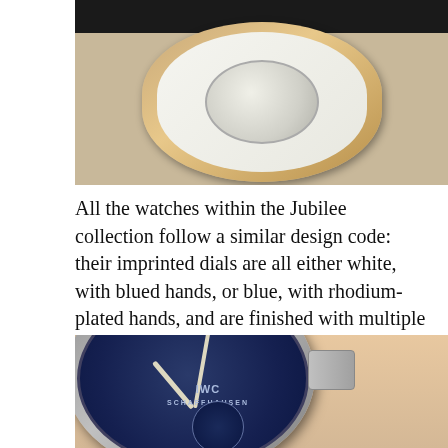[Figure (photo): Close-up photo of the back of an IWC watch showing the caseback with rotor bridge and movement, on a leather strap, against a beige background.]
All the watches within the Jubilee collection follow a similar design code: their imprinted dials are all either white, with blued hands, or blue, with rhodium-plated hands, and are finished with multiple layers of lacquer to achieve a look reminiscent of vintage enamel-dialed pocketwatches.
[Figure (photo): Close-up photo of an IWC Big Pilot's Watch with a blue dial, luminous hands, and date complication, with the crown visible on the right side.]